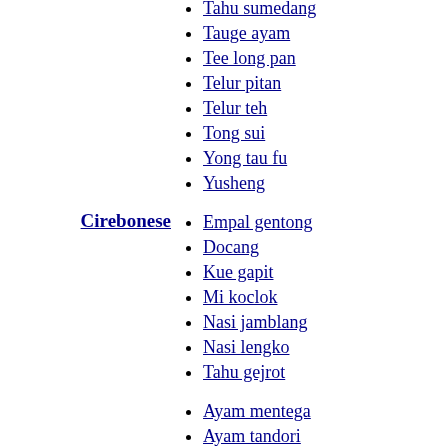Tahu sumedang
Tauge ayam
Tee long pan
Telur pitan
Telur teh
Tong sui
Yong tau fu
Yusheng
Cirebonese
Empal gentong
Docang
Kue gapit
Mi koclok
Nasi jamblang
Nasi lengko
Tahu gejrot
Ayam mentega
Ayam tandori
Chapati
Chutney
Dosa
Idli
Laddu
Kari kambing
Kari kepala ikan